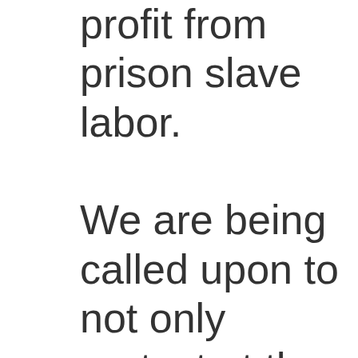profit from prison slave labor. We are being called upon to not only protest at the local prison, jail, or work camp, but to